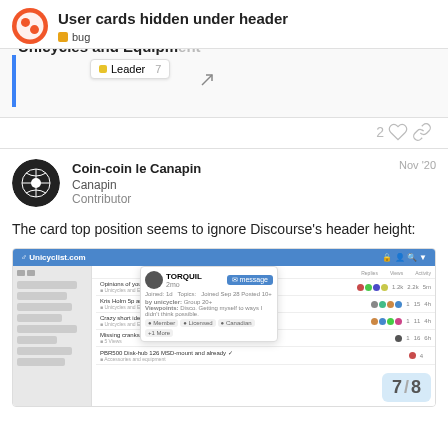User cards hidden under header
bug
[Figure (screenshot): Partial screenshot showing a forum with a 'Leader' dropdown and 'Unicycles and Equipment' text with blue left border]
2
Coin-coin le Canapin Nov '20 Canapin Contributor
The card top position seems to ignore Discourse's header height:
[Figure (screenshot): Screenshot of Unicyclist.com forum with a user card popup for TORQUIL visible at top, with message button, stats, and badges including Member, Licensed, Canadian, +1 More. Topic list visible below.]